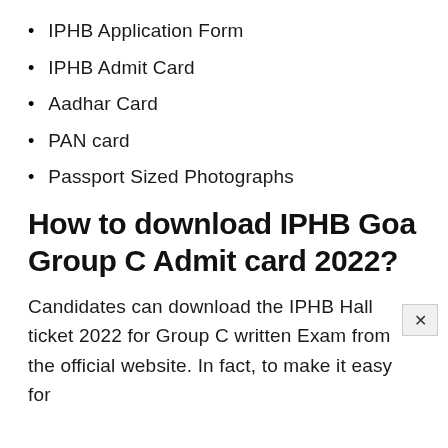IPHB Application Form
IPHB Admit Card
Aadhar Card
PAN card
Passport Sized Photographs
How to download IPHB Goa Group C Admit card 2022?
Candidates can download the IPHB Hall ticket 2022 for Group C written Exam from the official website. In fact, to make it easy for